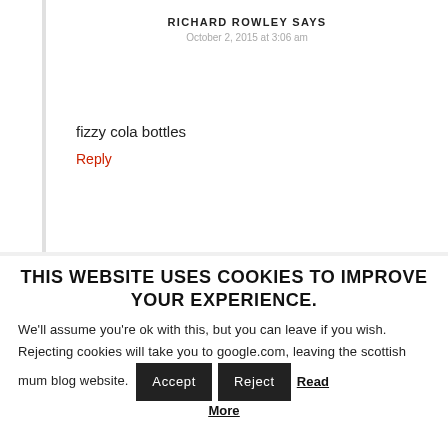RICHARD ROWLEY SAYS
October 2, 2015 at 3:06 am
fizzy cola bottles
Reply
THIS WEBSITE USES COOKIES TO IMPROVE YOUR EXPERIENCE.
We'll assume you're ok with this, but you can leave if you wish. Rejecting cookies will take you to google.com, leaving the scottish mum blog website.
Accept
Reject
Read More